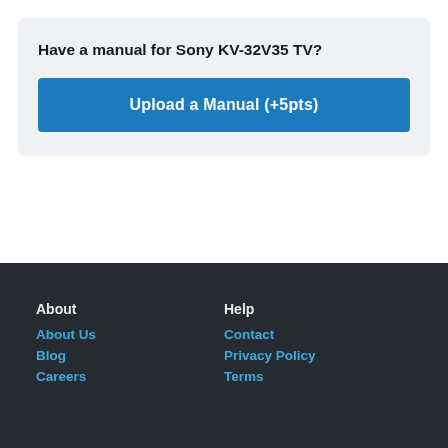Have a manual for Sony KV-32V35 TV?
Upload a Manual (+5pts)
About | About Us | Blog | Careers | Help | Contact | Privacy Policy | Terms